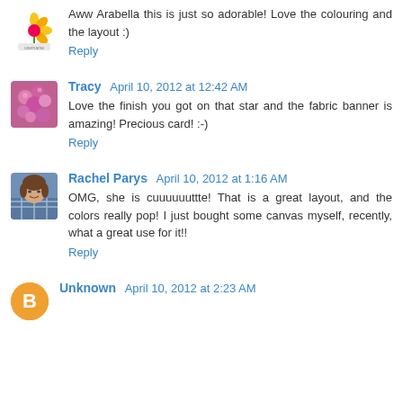Aww Arabella this is just so adorable! Love the colouring and the layout :)
Reply
Tracy  April 10, 2012 at 12:42 AM
Love the finish you got on that star and the fabric banner is amazing! Precious card! :-)
Reply
Rachel Parys  April 10, 2012 at 1:16 AM
OMG, she is cuuuuuuttte! That is a great layout, and the colors really pop! I just bought some canvas myself, recently, what a great use for it!!
Reply
Unknown  April 10, 2012 at 2:23 AM